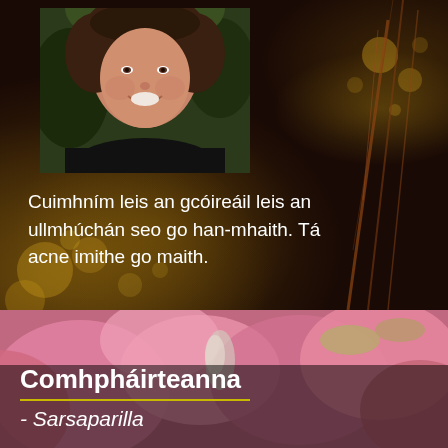[Figure (photo): Smiling woman with curly brown hair against a dark bokeh background with golden light orbs]
Cuimhním leis an gcóireáil leis an ullmhúchán seo go han-mhaith. Tá acne imithe go maith.
[Figure (photo): Close-up of pink flowers (likely hibiscus or similar) in soft focus]
Comhpháirteanna
- Sarsaparilla